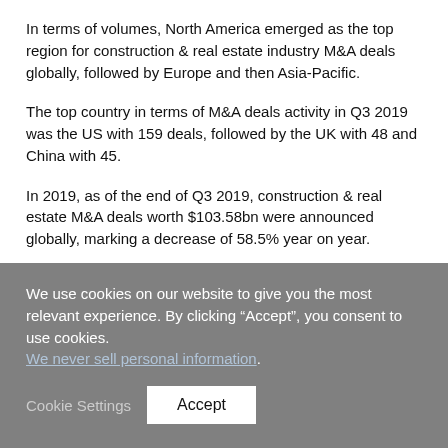In terms of volumes, North America emerged as the top region for construction & real estate industry M&A deals globally, followed by Europe and then Asia-Pacific.
The top country in terms of M&A deals activity in Q3 2019 was the US with 159 deals, followed by the UK with 48 and China with 45.
In 2019, as of the end of Q3 2019, construction & real estate M&A deals worth $103.58bn were announced globally, marking a decrease of 58.5% year on year.
We use cookies on our website to give you the most relevant experience. By clicking “Accept”, you consent to use cookies. We never sell personal information.